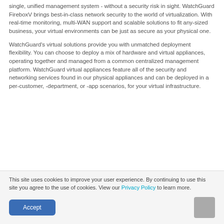single, unified management system - without a security risk in sight. WatchGuard FireboxV brings best-in-class network security to the world of virtualization. With real-time monitoring, multi-WAN support and scalable solutions to fit any-sized business, your virtual environments can be just as secure as your physical one.
WatchGuard's virtual solutions provide you with unmatched deployment flexibility. You can choose to deploy a mix of hardware and virtual appliances, operating together and managed from a common centralized management platform. WatchGuard virtual appliances feature all of the security and networking services found in our physical appliances and can be deployed in a per-customer, -department, or -app scenarios, for your virtual infrastructure.
This site uses cookies to improve your user experience. By continuing to use this site you agree to the use of cookies. View our Privacy Policy to learn more.